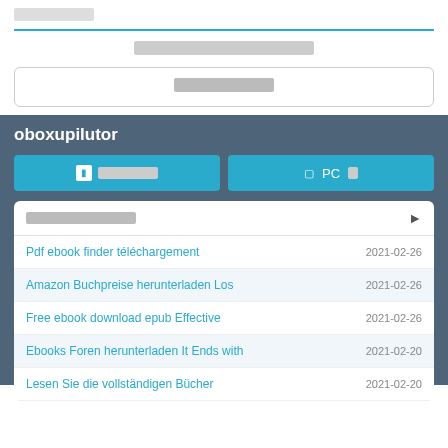[redacted]
[redacted subtitle]
[search button]
oboxupilutor
[button row: mobile / PC]
[card header: redacted]
Pdf ebook finder t&#233;l&#233;chargement  2021-02-26
Amazon Buchpreise herunterladen Los  2021-02-26
Free ebook download epub Effective  2021-02-26
Ebooks Foren herunterladen It Ends with  2021-02-20
Lesen Sie die vollst&#228;ndigen B&#252;cher  2021-02-20